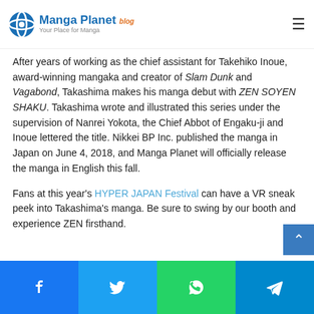Manga Planet Blog — Your Place for Manga
Takehiko Inoue's Chief Assistant, Debuts
After years of working as the chief assistant for Takehiko Inoue, award-winning mangaka and creator of Slam Dunk and Vagabond, Takashima makes his manga debut with ZEN SOYEN SHAKU. Takashima wrote and illustrated this series under the supervision of Nanrei Yokota, the Chief Abbot of Engaku-ji and Inoue lettered the title. Nikkei BP Inc. published the manga in Japan on June 4, 2018, and Manga Planet will officially release the manga in English this fall.
Fans at this year's HYPER JAPAN Festival can have a VR sneak peek into Takashima's manga. Be sure to swing by our booth and experience ZEN firsthand.